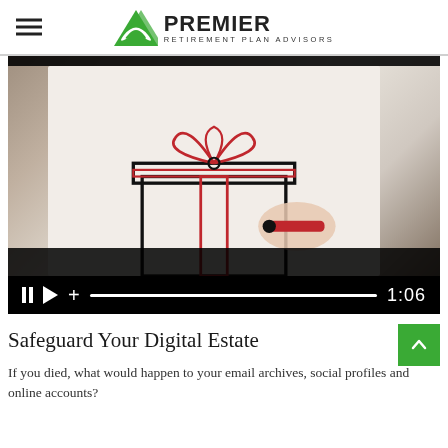PREMIER RETIREMENT PLAN ADVISORS
[Figure (screenshot): Video player showing a whiteboard animation of a gift box being drawn on a tablet screen. Video controls at the bottom show pause, play, plus, a progress bar, and a timestamp of 1:06.]
Safeguard Your Digital Estate
If you died, what would happen to your email archives, social profiles and online accounts?